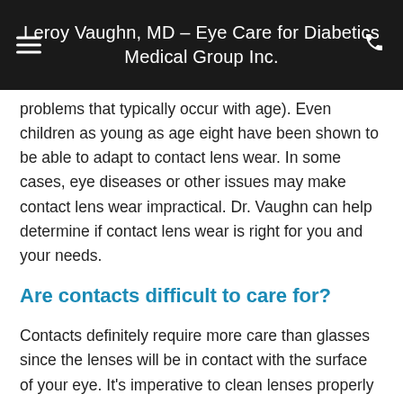Leroy Vaughn, MD - Eye Care for Diabetics Medical Group Inc.
problems that typically occur with age). Even children as young as age eight have been shown to be able to adapt to contact lens wear. In some cases, eye diseases or other issues may make contact lens wear impractical. Dr. Vaughn can help determine if contact lens wear is right for you and your needs.
Are contacts difficult to care for?
Contacts definitely require more care than glasses since the lenses will be in contact with the surface of your eye. It's imperative to clean lenses properly and to ensure your hands are clean when putting lenses in or taking them out. In addition, different types of lenses can require different care. For instance, daily